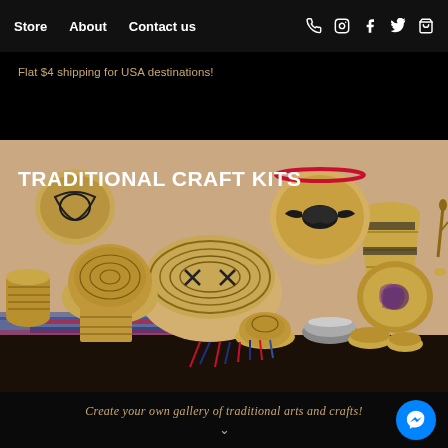Store   About   Contact us
Flat $4 shipping for USA destinations!
TRADITIONAL CRAFT KITS
[Figure (photo): Collection of traditional woven baskets and craft items displayed on a tan/sandy background, including coiled baskets, decorated bowls, and woven mats in various sizes and patterns.]
Create your own gallery of traditional arts and crafts!